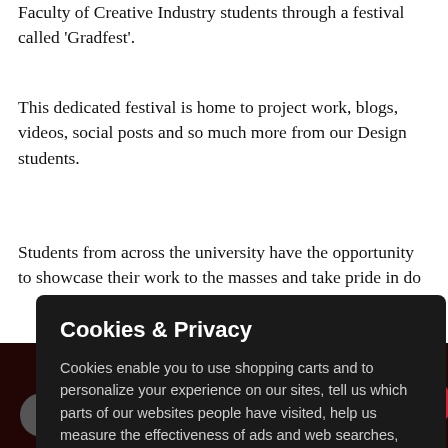Faculty of Creative Industry students through a festival called 'Gradfest'.
This dedicated festival is home to project work, blogs, videos, social posts and so much more from our Design students.
Students from across the university have the opportunity to showcase their work to the masses and take pride in do[ing so.]
Ta[king part as pa[rt of a]
[Figure (screenshot): Cookies & Privacy modal overlay with dark background. Title: 'Cookies & Privacy'. Body text explaining cookie usage. Link: 'More information'. Button: 'Accept Cookies...' in red.]
[Figure (screenshot): Bottom strip showing Netflix-style image with text 'NETFLIX SERIES SEX EDUCATION' in white bold uppercase on dark red background, with profile thumbnail and red circle icon.]